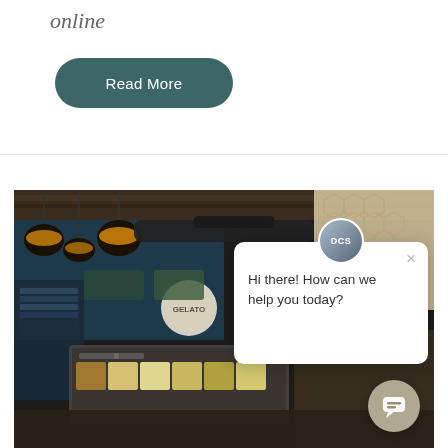online
Read More
[Figure (photo): Interior of a dessert/gelato shop with dark ceiling, hanging warm-toned pendant lights, refrigerated display cases and ice cream counter with various toppings visible. A live chat popup overlay appears in the lower right portion of the image showing 'DCS' avatar and message 'Hi there! How can we help you today?' with a close button.]